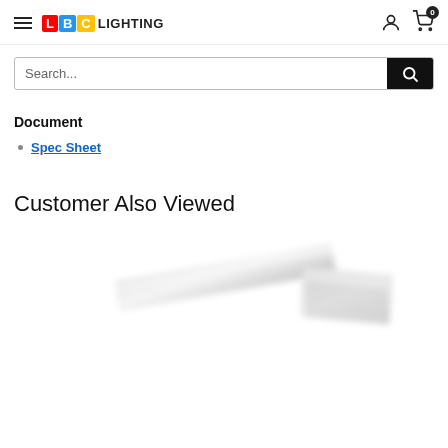LBC LIGHTING
Search...
Document
Spec Sheet
Customer Also Viewed
[Figure (photo): Blurred product images of lighting fixtures at the bottom of the page]